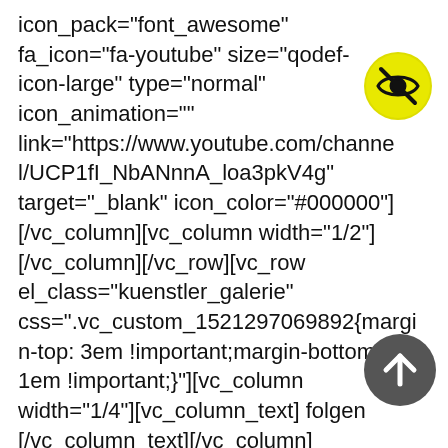icon_pack="font_awesome" fa_icon="fa-youtube" size="qodef-icon-large" type="normal" icon_animation="" link="https://www.youtube.com/channel/UCP1fI_NbANnnA_loa3pkV4g" target="_blank" icon_color="#000000"][/vc_column][vc_column width="1/2"][/vc_column][/vc_row][vc_row el_class="kuenstler_galerie" css=".vc_custom_1521297069892{margin-top: 3em !important;margin-bottom: 1em !important;}"][vc_column width="1/4"][vc_column_text] folgen [/vc_column_text][/vc_column][vc_column width="1/4"][/vc_column][vc_column width="1/4"][/vc_column]
[Figure (illustration): Yellow circle with a crossed-out eye icon (hidden/invisible symbol) in black]
[Figure (illustration): Dark grey circle with an upward-pointing arrow icon in white]